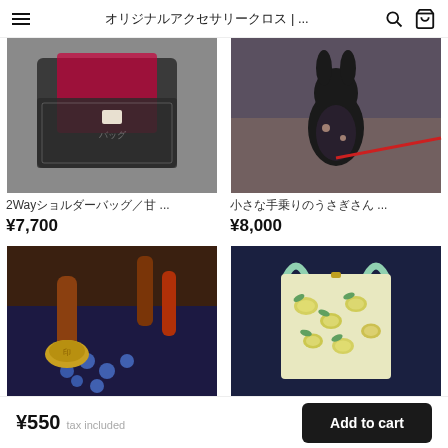オリジナルアクセサリークロス | ...
[Figure (photo): 2Wayショルダーバッグ甘... product photo showing a black/white patterned bag with red lining]
2Wayショルダーバッグ／甘 ...
¥7,700
[Figure (photo): 小さな手乗りのうさぎさん... product photo showing a stuffed rabbit wearing a kimono]
小さな手乗りのうさぎさん ...
¥8,000
[Figure (photo): Product photo showing wax seal stamps and blue wax beads]
[Figure (photo): Product photo showing a small tote bag with lemon pattern on dark blue background]
¥550  tax included
Add to cart